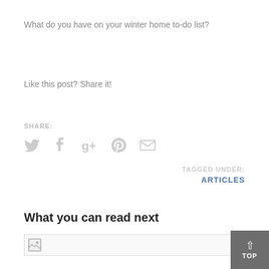What do you have on your winter home to-do list?
Like this post? Share it!
SHARE:
[Figure (other): Social sharing icons: Twitter bird, Facebook f, Google+, Pinterest P, Email envelope — all in light gray]
TAGGED UNDER:
ARTICLES
What you can read next
[Figure (photo): Image placeholder with broken image icon at bottom of page]
TOP